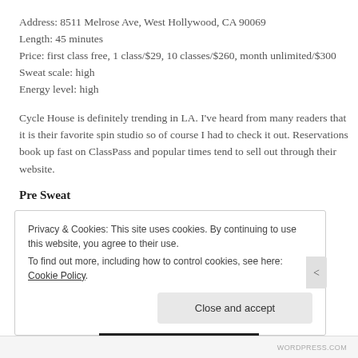Address: 8511 Melrose Ave, West Hollywood, CA 90069
Length: 45 minutes
Price: first class free, 1 class/$29, 10 classes/$260, month unlimited/$300
Sweat scale: high
Energy level: high
Cycle House is definitely trending in LA. I've heard from many readers that it is their favorite spin studio so of course I had to check it out. Reservations book up fast on ClassPass and popular times tend to sell out through their website.
Pre Sweat
Privacy & Cookies: This site uses cookies. By continuing to use this website, you agree to their use.
To find out more, including how to control cookies, see here: Cookie Policy
Close and accept
WORDPRESS.COM